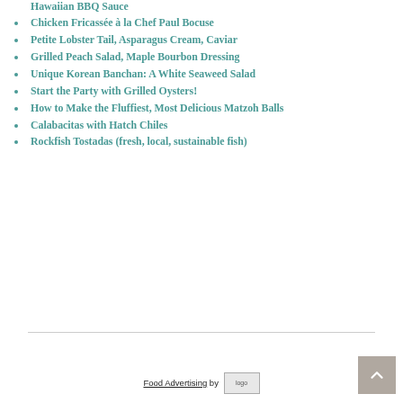Hawaiian BBQ Sauce
Chicken Fricassée à la Chef Paul Bocuse
Petite Lobster Tail, Asparagus Cream, Caviar
Grilled Peach Salad, Maple Bourbon Dressing
Unique Korean Banchan: A White Seaweed Salad
Start the Party with Grilled Oysters!
How to Make the Fluffiest, Most Delicious Matzoh Balls
Calabacitas with Hatch Chiles
Rockfish Tostadas (fresh, local, sustainable fish)
Food Advertising by logo